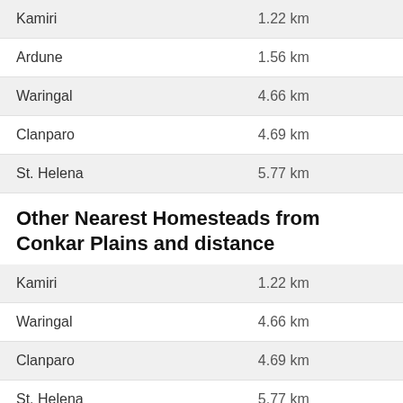| Location | Distance |
| --- | --- |
| Kamiri | 1.22 km |
| Ardune | 1.56 km |
| Waringal | 4.66 km |
| Clanparo | 4.69 km |
| St. Helena | 5.77 km |
Other Nearest Homesteads from Conkar Plains and distance
| Location | Distance |
| --- | --- |
| Kamiri | 1.22 km |
| Waringal | 4.66 km |
| Clanparo | 4.69 km |
| St. Helena | 5.77 km |